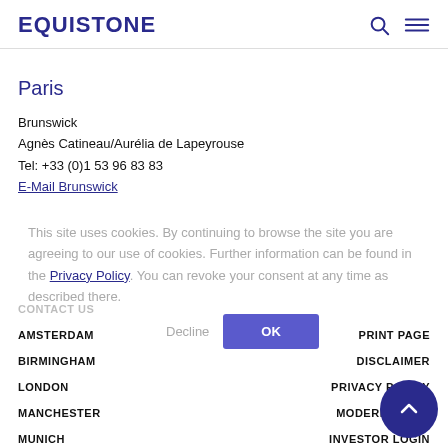EQUISTONE
Paris
Brunswick
Agnès Catineau/Aurélia de Lapeyrouse
Tel: +33 (0)1 53 96 83 83
E-Mail Brunswick
This site uses cookies. By continuing to browse the site you are agreeing to our use of cookies. Further information can be found in the Privacy Policy. You can revoke your consent at any time as described there.
CONTACT US
AMSTERDAM
BIRMINGHAM
LONDON
MANCHESTER
MUNICH
PRINT PAGE
DISCLAIMER
PRIVACY POLICY
MODERN SLAVE
INVESTOR LOGIN